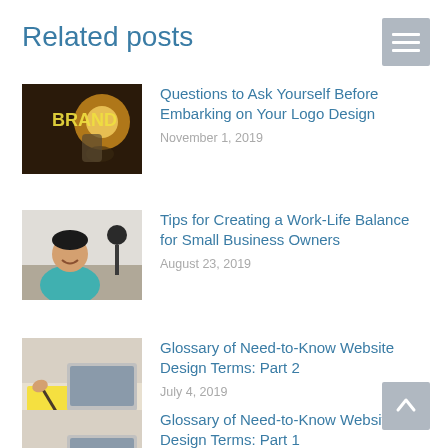Related posts
Questions to Ask Yourself Before Embarking on Your Logo Design
November 1, 2019
Tips for Creating a Work-Life Balance for Small Business Owners
August 23, 2019
Glossary of Need-to-Know Website Design Terms: Part 2
July 4, 2019
Glossary of Need-to-Know Website Design Terms: Part 1